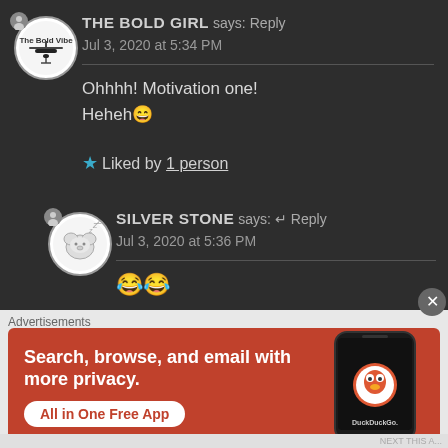THE BOLD GIRL says: Reply
Jul 3, 2020 at 5:34 PM
Ohhhh! Motivation one! Heheh😄
★ Liked by 1 person
[Figure (illustration): Round avatar with helicopter/bold vibe logo]
SILVER STONE says: ↵ Reply
Jul 3, 2020 at 5:36 PM
[Figure (illustration): Round avatar with sleeping bear/character illustration]
Advertisements
[Figure (screenshot): DuckDuckGo advertisement: Search, browse, and email with more privacy. All in One Free App]